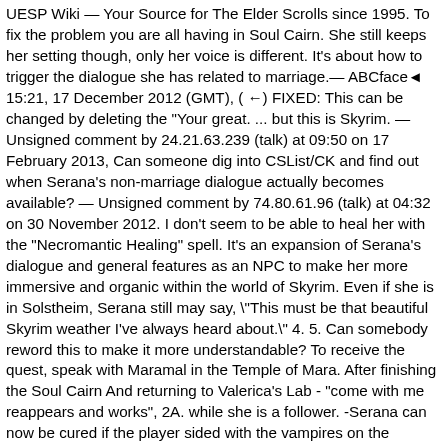UESP Wiki — Your Source for The Elder Scrolls since 1995. To fix the problem you are all having in Soul Cairn. She still keeps her setting though, only her voice is different. It's about how to trigger the dialogue she has related to marriage.— ABCface◄ 15:21, 17 December 2012 (GMT), ( ←) FIXED: This can be changed by deleting the "Your great. ... but this is Skyrim. — Unsigned comment by 24.21.63.239 (talk) at 09:50 on 17 February 2013, Can someone dig into CSList/CK and find out when Serana's non-marriage dialogue actually becomes available? — Unsigned comment by 74.80.61.96 (talk) at 04:32 on 30 November 2012. I don't seem to be able to heal her with the "Necromantic Healing" spell. It's an expansion of Serana's dialogue and general features as an NPC to make her more immersive and organic within the world of Skyrim. Even if she is in Solstheim, Serana still may say, \"This must be that beautiful Skyrim weather I've always heard about.\" 4. 5. Can somebody reword this to make it more understandable? To receive the quest, speak with Maramal in the Temple of Mara. After finishing the Soul Cairn And returning to Valerica's Lab - "come with me reappears and works", 2A. while she is a follower. -Serana can now be cured if the player sided with the vampires on the Dawnguard questline. 82.234.243.203 13:21, 29 December 2012 (GMT), You know how Serana occasionally gets stuck in sneak mode? 5. Several vanilla dialogue records were altered when the author added the different responses for the hirelings in IQN. Serana won't just say the same 4 things each time- this has been doubled to a total of 8 random possible responses once the player chooses to trade items with